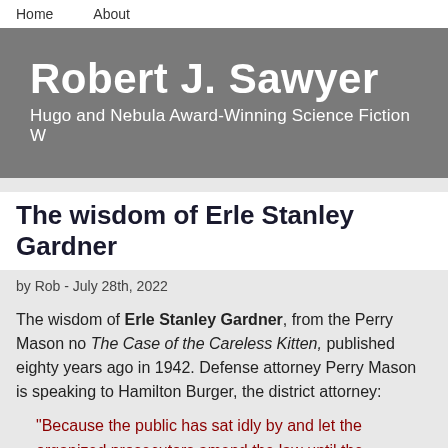Home   About
Robert J. Sawyer
Hugo and Nebula Award-Winning Science Fiction W
The wisdom of Erle Stanley Gardner
by Rob - July 28th, 2022
The wisdom of Erle Stanley Gardner, from the Perry Mason no The Case of the Careless Kitten, published eighty years ago in 1942. Defense attorney Perry Mason is speaking to Hamilton Burger, the district attorney:
“Because the public has sat idly by and let the organized prosecutors amend the law until the constitutional guarantees of the public were swept away. We’re living in a period of changing times. It’s quite possible that the definition of crime will be broadened to include things which we might at present list in the category of political crimes